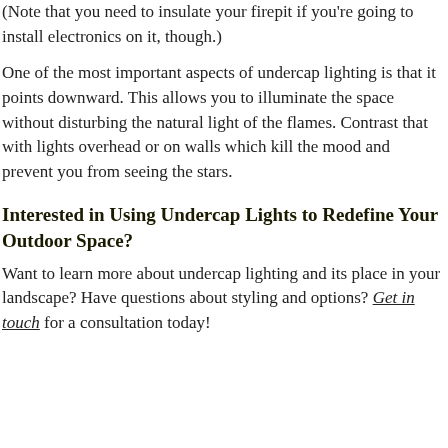(Note that you need to insulate your firepit if you're going to install electronics on it, though.)
One of the most important aspects of undercap lighting is that it points downward. This allows you to illuminate the space without disturbing the natural light of the flames. Contrast that with lights overhead or on walls which kill the mood and prevent you from seeing the stars.
Interested in Using Undercap Lights to Redefine Your Outdoor Space?
Want to learn more about undercap lighting and its place in your landscape? Have questions about styling and options? Get in touch for a consultation today!